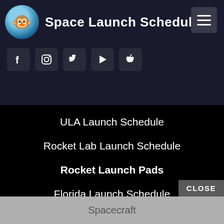Space Launch Schedule
[Figure (screenshot): App logo: monkey astronaut in circular icon]
[Figure (screenshot): Navigation menu hamburger button]
[Figure (screenshot): Social media icons row: Facebook, Instagram, Twitter, Google Play, Apple]
ULA Launch Schedule
Rocket Lab Launch Schedule
Rocket Launch Pads
Florida Launch Schedule
Sriharikota Launch Schedule
Kennedy Space Center Launch Schedule
CLOSE
Spacecraft